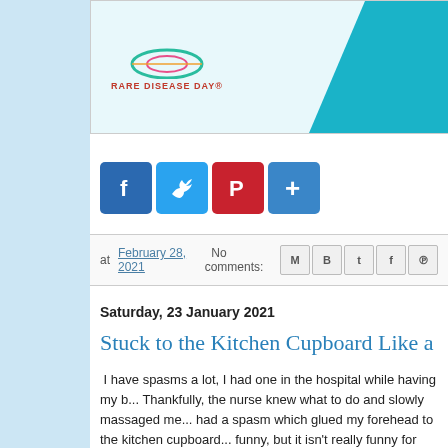[Figure (logo): Rare Disease Day logo with teal splash background in top banner area]
[Figure (infographic): Social media share buttons: Facebook (blue), Twitter (light blue), Pinterest (red), More/Plus (blue)]
at February 28, 2021   No comments:
Saturday, 23 January 2021
Stuck to the Kitchen Cupboard Like a
I have spasms a lot, I had one in the hospital while having my b... Thankfully, the nurse knew what to do and slowly massaged me... had a spasm which glued my forehead to the kitchen cupboard... funny, but it isn't really funny for me.
I knew I had a spasm coming, I get warning signs, dizziness, tin... pit of my stomach. Over the years, I've learned to interpret thes... b...en...t...t...o...w...i...t...h...s...e...l...f...k...n...o...w...l...e...d...g...e...